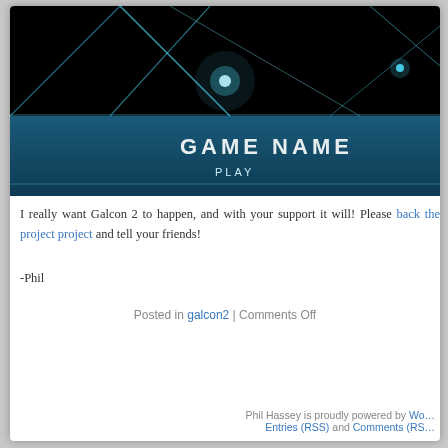[Figure (screenshot): Game banner screenshot showing a dark sci-fi/space scene with teal geometric light beams on a black background. Text overlaid reads 'GAME NAME' in large white letters and 'PLAY' below it. The banner has a dark teal gradient bar at the bottom.]
I really want Galcon 2 to happen, and with your support it will! Please back the project and tell your friends!
-Phil
Posted in galcon2 | Comments Off
Phil Hassey is proudly powered by WordPress · Entries (RSS) and Comments (RSS)